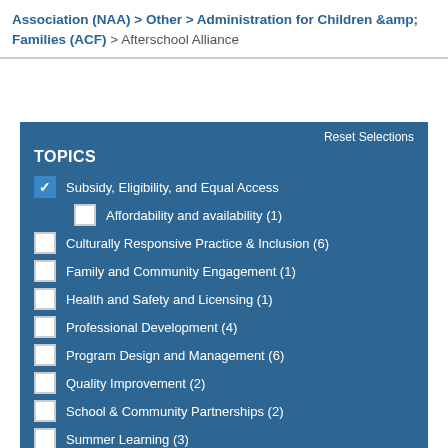Association (NAA) > Other > Administration for Children & Families (ACF) > Afterschool Alliance
Reset Selections
TOPICS
Subsidy, Eligibility, and Equal Access (checked)
Affordability and availability (1)
Culturally Responsive Practice & Inclusion (6)
Family and Community Engagement (1)
Health and Safety and Licensing (1)
Professional Development (4)
Program Design and Management (6)
Quality Improvement (2)
School & Community Partnerships (2)
Summer Learning (3)
Supportive Learning Environment (6)
Systems Building (3)